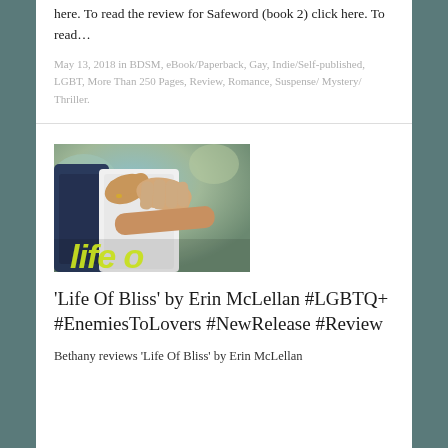here. To read the review for Safeword (book 2) click here. To read…
May 13, 2018 in BDSM, eBook/Paperback, Gay, Indie/Self-published, LGBT, More Than 250 Pages, Review, Romance, Suspense/ Mystery/ Thriller.
[Figure (photo): Book cover image for 'Life of Bliss' showing two people embracing, with hands wrapped around someone in a white shirt, with bright yellow-green text partially visible at the bottom]
'Life Of Bliss' by Erin McLellan #LGBTQ+ #EnemiesToLovers #NewRelease #Review
Bethany reviews 'Life Of Bliss' by Erin McLellan